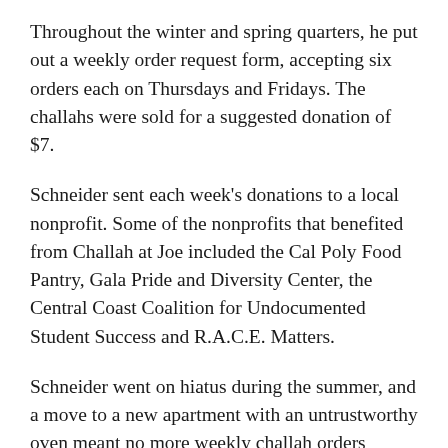Throughout the winter and spring quarters, he put out a weekly order request form, accepting six orders each on Thursdays and Fridays. The challahs were sold for a suggested donation of $7.
Schneider sent each week's donations to a local nonprofit. Some of the nonprofits that benefited from Challah at Joe included the Cal Poly Food Pantry, Gala Pride and Diversity Center, the Central Coast Coalition for Undocumented Student Success and R.A.C.E. Matters.
Schneider went on hiatus during the summer, and a move to a new apartment with an untrustworthy oven meant no more weekly challah orders during fall quarter. But Schneider's been able to continue baking challah for the people: he and a few volunteers set up a booth at Culturefest via the Jewish student organization Hillel.